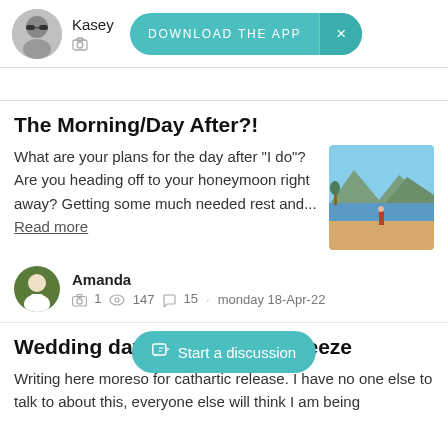Kasey
[Figure (screenshot): DOWNLOAD THE APP banner button with X close button]
The Morning/Day After?!
What are your plans for the day after "I do"? Are you heading off to your honeymoon right away? Getting some much needed rest and... Read more
[Figure (photo): Beach scene with mountains, person standing on sandy shore near water]
Amanda
1  147  15  · monday 18-Apr-22
Wedding day w...eeze
Writing here moreso for cathartic release. I have no one else to talk to about this, everyone else will think I am being
[Figure (screenshot): Start a discussion button overlay]